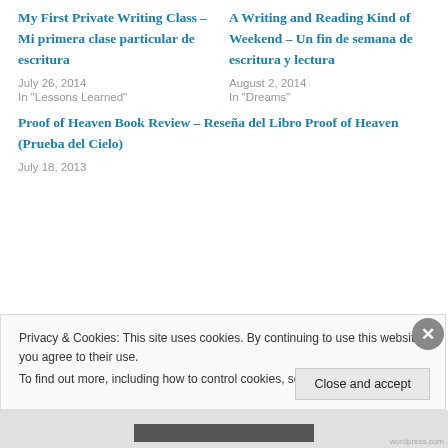My First Private Writing Class – Mi primera clase particular de escritura
July 26, 2014
In "Lessons Learned"
A Writing and Reading Kind of Weekend – Un fin de semana de escritura y lectura
August 2, 2014
In "Dreams"
Proof of Heaven Book Review – Reseña del Libro Proof of Heaven (Prueba del Cielo)
July 18, 2013
Privacy & Cookies: This site uses cookies. By continuing to use this website, you agree to their use. To find out more, including how to control cookies, see here: Cookie Policy
Close and accept